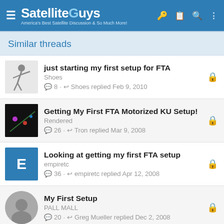SatelliteGuys — America's Best Satellite Discussion & So Much More!
Similar threads
just starting my first setup for FTA · Shoes · 8 · Shoes replied Feb 9, 2010
Getting My First FTA Motorized KU Setup! · Rendered · 26 · Tron replied Mar 9, 2008
Looking at getting my first FTA setup · empiretc · 36 · empiretc replied Apr 12, 2008
My First Setup · PALL MALL · 20 · Greg Mueller replied Dec 2, 2008